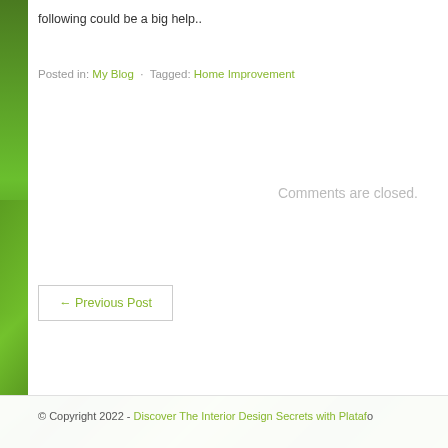following could be a big help..
Posted in: My Blog · Tagged: Home Improvement
Comments are closed.
← Previous Post
© Copyright 2022 - Discover The Interior Design Secrets with Plataf...